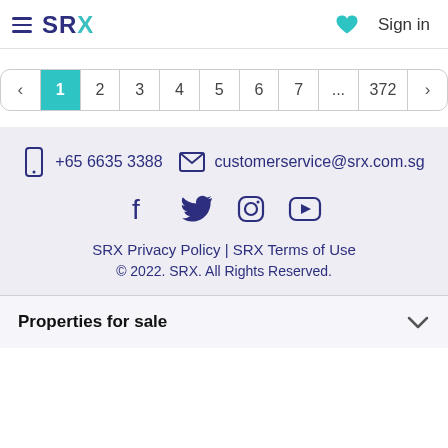≡ SRX  Sign in
< 1 2 3 4 5 6 7 ... 372 >
+65 6635 3388   customerservice@srx.com.sg
[Figure (infographic): Social media icons: Facebook, Twitter, Instagram, YouTube]
SRX Privacy Policy | SRX Terms of Use
© 2022. SRX. All Rights Reserved.
Properties for sale